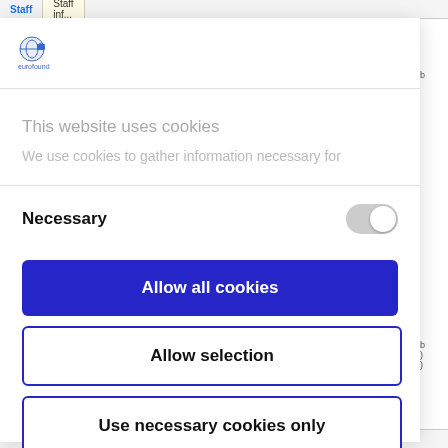Staff | Staff information
[Figure (logo): Eurofound logo - small blue circular icon with text]
This website uses cookies
We use cookies to gather information necessary for
Necessary
Allow all cookies
Allow selection
Use necessary cookies only
Powered by Cookiebot by Usercentrics
and | and | l'adempimento di